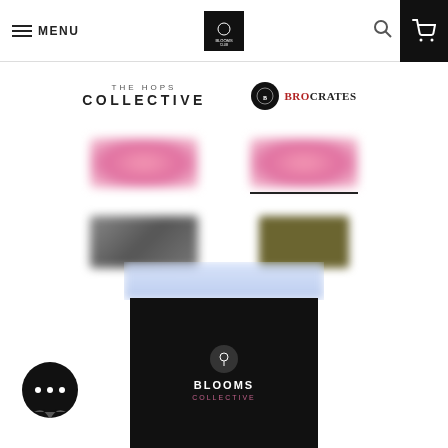MENU | BLOOMS LOGO | Search | Cart
[Figure (logo): The Hops Collective logo - text based logo with serif font]
[Figure (logo): Brocrates logo - black circle icon with BRO in red and CRATES in black serif font]
[Figure (logo): Blurred pink logo placeholder]
[Figure (logo): Blurred pink logo placeholder with underline]
[Figure (logo): Blurred dark logo placeholder]
[Figure (logo): Blurred olive/green square logo placeholder]
[Figure (screenshot): Bottom promotional card with Blooms Club branding on dark background with peeking gift boxes]
[Figure (illustration): Chat bubble icon with three dots]